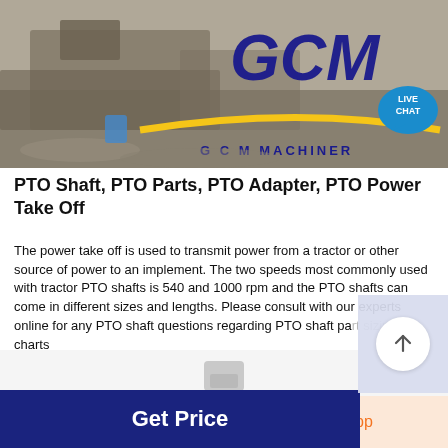[Figure (photo): GCM Machinery banner image showing industrial equipment/construction site with large blue GCM MACHINERY logo text and a yellow swoosh graphic. A 'LIVE CHAT' speech bubble badge is overlaid at the right.]
PTO Shaft, PTO Parts, PTO Adapter, PTO Power Take Off
The power take off is used to transmit power from a tractor or other source of power to an implement. The two speeds most commonly used with tractor PTO shafts is 540 and 1000 rpm and the PTO shafts can come in different sizes and lengths. Please consult with our experts online for any PTO shaft questions regarding PTO shaft part sizing charts
[Figure (screenshot): Dark navy blue 'Get Price' button with large bold white text]
[Figure (photo): Partial GCM machinery product image visible at bottom of page]
Get a Quote
WhatsApp